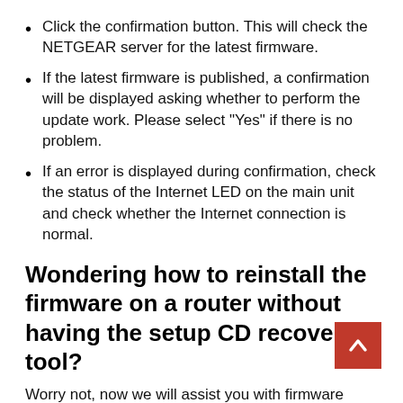Click the confirmation button. This will check the NETGEAR server for the latest firmware.
If the latest firmware is published, a confirmation will be displayed asking whether to perform the update work. Please select “Yes” if there is no problem.
If an error is displayed during confirmation, check the status of the Internet LED on the main unit and check whether the Internet connection is normal.
Wondering how to reinstall the firmware on a router without having the setup CD recovery tool?
Worry not, now we will assist you with firmware recovery in